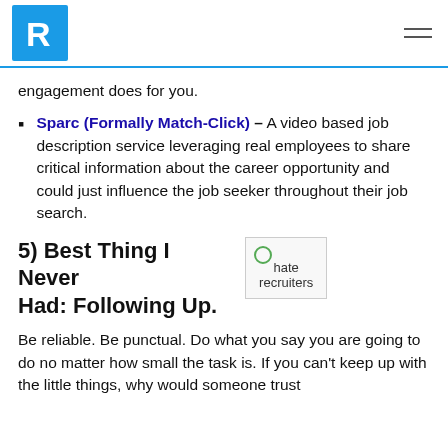R [logo] [hamburger menu]
engagement does for you.
Sparc (Formally Match-Click) – A video based job description service leveraging real employees to share critical information about the career opportunity and could just influence the job seeker throughout their job search.
5) Best Thing I Never Had: Following Up.
[Figure (photo): Broken image placeholder labeled 'hate recruiters']
Be reliable. Be punctual. Do what you say you are going to do no matter how small the task is. If you can't keep up with the little things, why would someone trust